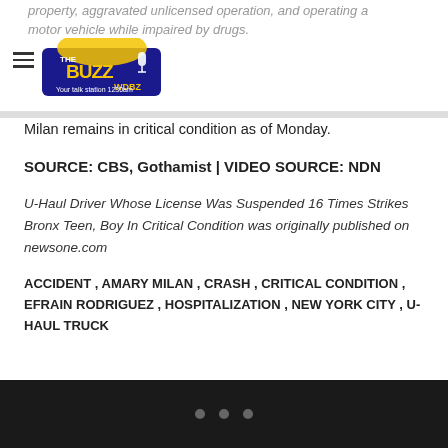property, aggravated unlicensed operation, and operating a motor vehicle while impaired by drugs.
[Figure (logo): The Buzz WDBZ radio station logo with microphone graphic, yellow and purple colors, 1230am]
Milan remains in critical condition as of Monday.
SOURCE: CBS, Gothamist | VIDEO SOURCE: NDN
U-Haul Driver Whose License Was Suspended 16 Times Strikes Bronx Teen, Boy In Critical Condition was originally published on newsone.com
ACCIDENT , AMARY MILAN , CRASH , CRITICAL CONDITION , EFRAIN RODRIGUEZ , HOSPITALIZATION , NEW YORK CITY , U-HAUL TRUCK
• • •